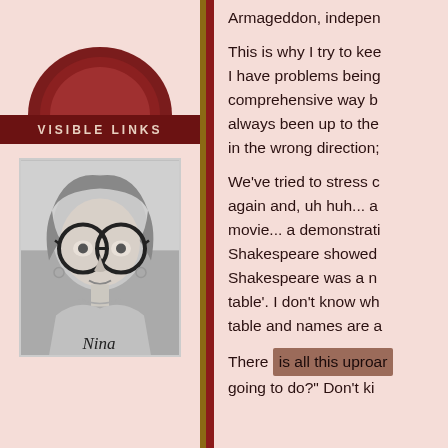VISIBLE LINKS
[Figure (photo): Black and white photo of a young girl named Nina wearing large round glasses, with a name necklace visible]
Armageddon, indepen...
This is why I try to kee... I have problems being... comprehensive way b... always been up to the... in the wrong direction;...
We've tried to stress c... again and, uh huh... a... movie... a demonstrati... Shakespeare showed ... Shakespeare was a n... table'. I don't know wh... table and names are a...
There is all this uproar... going to do?" Don't ki...